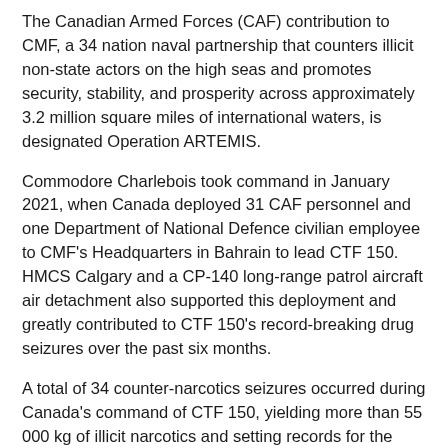The Canadian Armed Forces (CAF) contribution to CMF, a 34 nation naval partnership that counters illicit non-state actors on the high seas and promotes security, stability, and prosperity across approximately 3.2 million square miles of international waters, is designated Operation ARTEMIS.
Commodore Charlebois took command in January 2021, when Canada deployed 31 CAF personnel and one Department of National Defence civilian employee to CMF's Headquarters in Bahrain to lead CTF 150. HMCS Calgary and a CP-140 long-range patrol aircraft air detachment also supported this deployment and greatly contributed to CTF 150's record-breaking drug seizures over the past six months.
A total of 34 counter-narcotics seizures occurred during Canada's command of CTF 150, yielding more than 55 000 kg of illicit narcotics and setting records for the number of interdictions and amounts seized by CTF 150. A single interdiction by HMCS Calgary that seized over 1 200 kg of heroin was the largest heroin bust in CMF's history. Calgary's 17